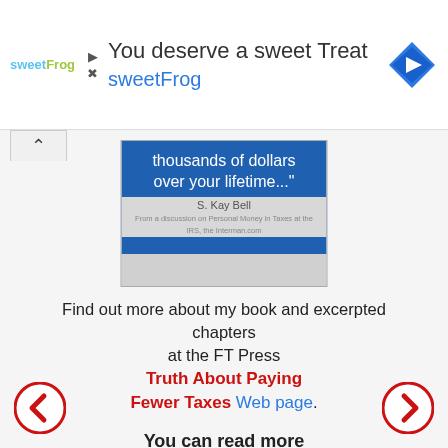[Figure (screenshot): sweetFrog advertisement banner with logo, play/close controls, headline 'You deserve a sweet Treat', sweetFrog subtitle, and navigation arrow icon]
[Figure (photo): Book cover with blue background showing partial text 'thousands of dollars over your lifetime...' and author name S. Kay Bell]
Find out more about my book and excerpted chapters at the FT Press Truth About Paying Fewer Taxes Web page.
You can read more of Kay's tax insights in ...
Kay Bell helps you build a solid tax foundation in "Personal Finance: An Encyclopedia of Modern Money Management"